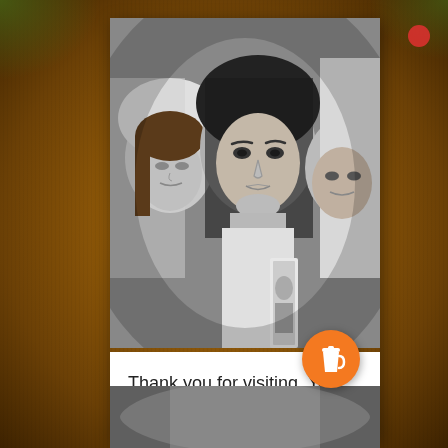[Figure (photo): Black and white photograph of three young women wearing lace head coverings (mantillas), looking forward. The central figure makes direct eye contact with the camera. One woman holds a religious candle. The photo is presented in a polaroid-style white frame on an orange-brown textured background.]
Thank you for visiting. You can now buy me a coffee!